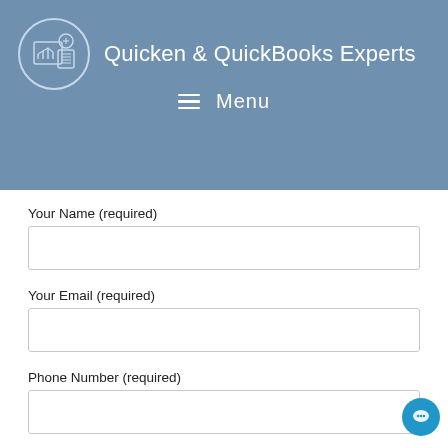Quicken & QuickBooks Experts
Menu
Your Name (required)
Your Email (required)
Phone Number (required)
Your Message